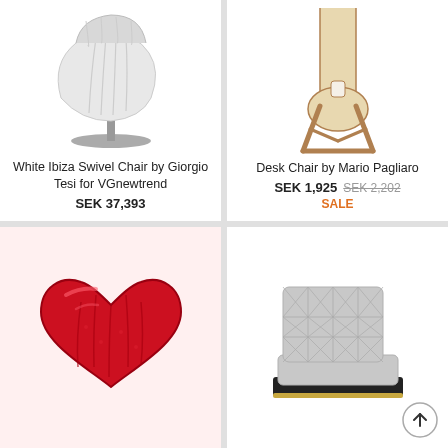[Figure (photo): White Ibiza swivel lounge chair with vertical channel stitching and round metal pedestal base, on white background]
White Ibiza Swivel Chair by Giorgio Tesi for VGnewtrend
SEK 37,393
[Figure (photo): Minimalist plywood desk chair with tall flat back and round cutout seat, natural wood finish]
Desk Chair by Mario Pagliaro
SEK 1,925 SEK 2,202 SALE
[Figure (photo): Red velvet heart-shaped chair/sofa with tufted cushioning]
[Figure (photo): Grey quilted upholstered low accent chair with black base and gold accent strip]